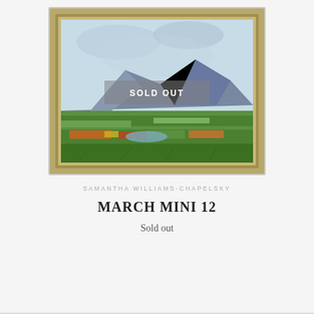[Figure (illustration): A small framed watercolor painting in a gold/silver ornate frame showing a landscape with mountains in the background, green fields and colorful flowers in the foreground, and a cloudy sky. A 'SOLD OUT' overlay banner appears across the center of the painting.]
SAMANTHA WILLIAMS-CHAPELSKY
MARCH MINI 12
Sold out